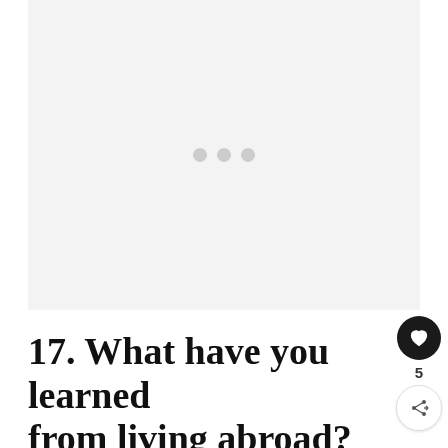[Figure (photo): Loading placeholder image area with three gray dots in the center on a light gray background]
17. What have you learned from living abroad?